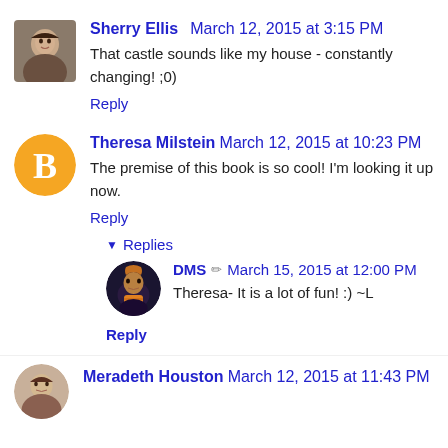[Figure (photo): Sherry Ellis avatar - small portrait photo of a woman]
Sherry Ellis March 12, 2015 at 3:15 PM
That castle sounds like my house - constantly changing! ;0)
Reply
[Figure (logo): Blogger orange circle logo with B icon]
Theresa Milstein March 12, 2015 at 10:23 PM
The premise of this book is so cool! I'm looking it up now.
Reply
Replies
[Figure (illustration): DMS avatar - circular illustration with dark fantasy art character]
DMS March 15, 2015 at 12:00 PM
Theresa- It is a lot of fun! :) ~L
Reply
[Figure (photo): Meradeth Houston avatar - small portrait photo]
Meradeth Houston March 12, 2015 at 11:43 PM